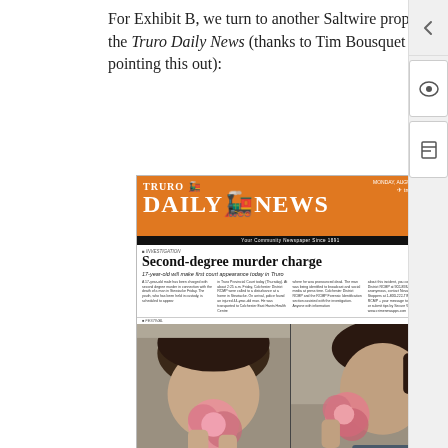For Exhibit B, we turn to another Saltwire property, the Truro Daily News (thanks to Tim Bousquet for pointing this out):
[Figure (photo): A photograph of the Truro Daily News front page from Monday, August 21, 2017. The front page features the newspaper masthead with orange background showing 'TRURO DAILY NEWS' with 'trurodaily.com' and the tagline 'Your Community Newspaper Since 1891'. The main headline reads 'Second-degree murder charge' with subheadline '17-year-old will make first court appearance today in Truro'. Below the article text are two photographs showing men with flowers.]